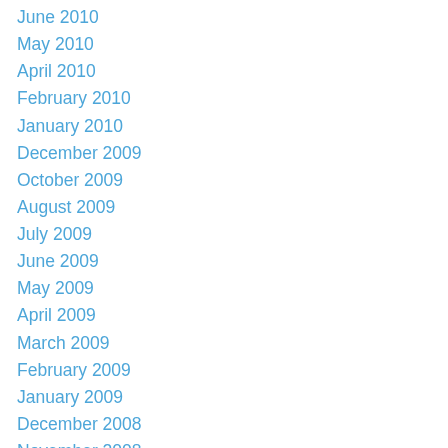June 2010
May 2010
April 2010
February 2010
January 2010
December 2009
October 2009
August 2009
July 2009
June 2009
May 2009
April 2009
March 2009
February 2009
January 2009
December 2008
November 2008
October 2008
September 2008
August 2008